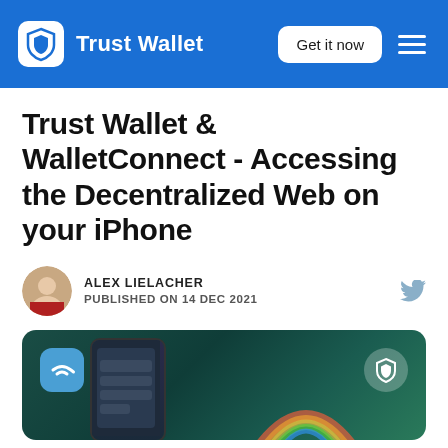Trust Wallet — Get it now
Trust Wallet & WalletConnect - Accessing the Decentralized Web on your iPhone
ALEX LIELACHER
PUBLISHED ON 14 DEC 2021
[Figure (illustration): Hero image showing WalletConnect and Trust Wallet logos alongside an iPhone display on a dark teal/green background with a rainbow gradient.]